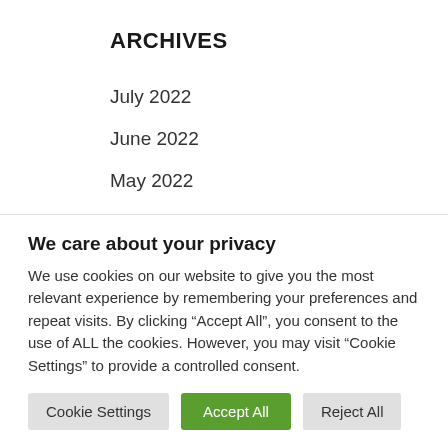ARCHIVES
July 2022
June 2022
May 2022
April 2022
March 2022
February 2022
We care about your privacy
We use cookies on our website to give you the most relevant experience by remembering your preferences and repeat visits. By clicking “Accept All”, you consent to the use of ALL the cookies. However, you may visit “Cookie Settings” to provide a controlled consent.
Cookie Settings | Accept All | Reject All